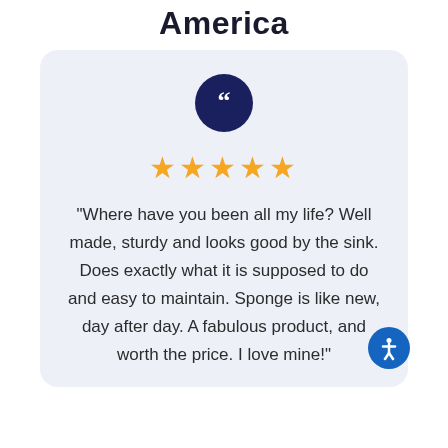America
"Where have you been all my life? Well made, sturdy and looks good by the sink. Does exactly what it is supposed to do and easy to maintain. Sponge is like new, day after day. A fabulous product, and worth the price. I love mine!"